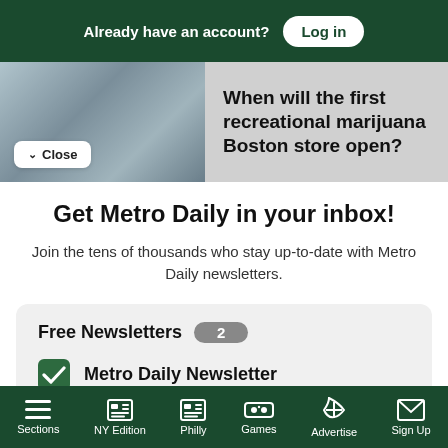Already have an account? Log in
When will the first recreational marijuana Boston store open?
Get Metro Daily in your inbox!
Join the tens of thousands who stay up-to-date with Metro Daily newsletters.
Free Newsletters 2
Metro Daily Newsletter
Metro Events
Sections NY Edition Philly Games Advertise Sign Up